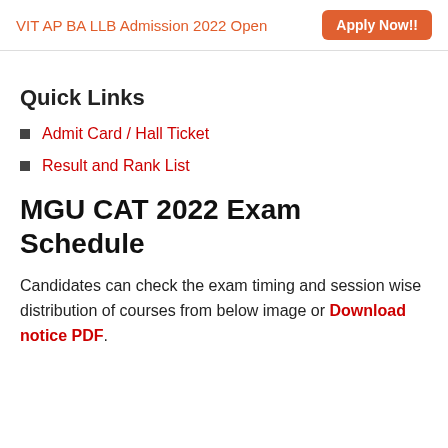VIT AP BA LLB Admission 2022 Open  Apply Now!!
Quick Links
Admit Card / Hall Ticket
Result and Rank List
MGU CAT 2022 Exam Schedule
Candidates can check the exam timing and session wise distribution of courses from below image or Download notice PDF.